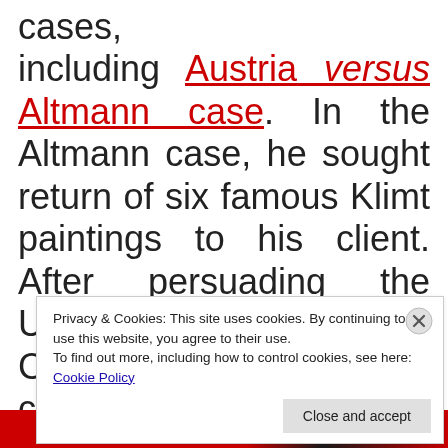cases, including Austria versus Altmann case. In the Altmann case, he sought return of six famous Klimt paintings to his client. After persuading the United States Supreme Court that Maria Altmann could sue Austria for return of the
Privacy & Cookies: This site uses cookies. By continuing to use this website, you agree to their use. To find out more, including how to control cookies, see here: Cookie Policy